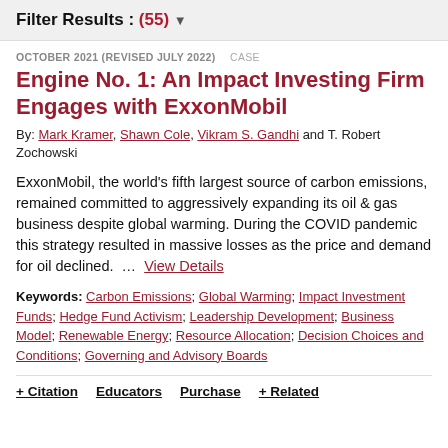Filter Results : (55) ▼
OCTOBER 2021 (REVISED JULY 2022)  CASE
Engine No. 1: An Impact Investing Firm Engages with ExxonMobil
By: Mark Kramer, Shawn Cole, Vikram S. Gandhi and T. Robert Zochowski
ExxonMobil, the world's fifth largest source of carbon emissions, remained committed to aggressively expanding its oil & gas business despite global warming. During the COVID pandemic this strategy resulted in massive losses as the price and demand for oil declined. ...  View Details
Keywords: Carbon Emissions; Global Warming; Impact Investment Funds; Hedge Fund Activism; Leadership Development; Business Model; Renewable Energy; Resource Allocation; Decision Choices and Conditions; Governing and Advisory Boards
+ Citation  Educators  Purchase  + Related